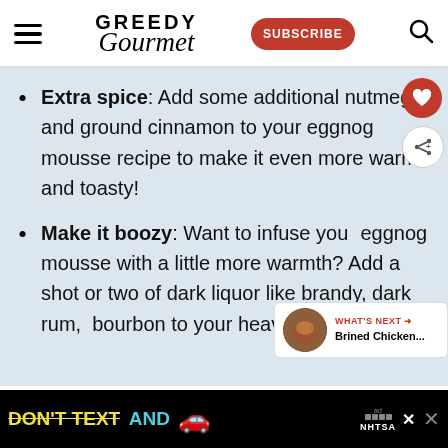GREEDY Gourmet | SUBSCRIBE
Extra spice: Add some additional nutmeg and ground cinnamon to your eggnog mousse recipe to make it even more warm and toasty!
Make it boozy: Want to infuse your eggnog mousse with a little more warmth? Add a shot or two of dark liquor like brandy, dark rum, bourbon to your heavy cream
[Figure (other): What's Next callout widget with image of Brined Chicken]
[Figure (other): Advertisement banner: DON'T TEXT AND [car emoji] with NHTSA branding on black background]